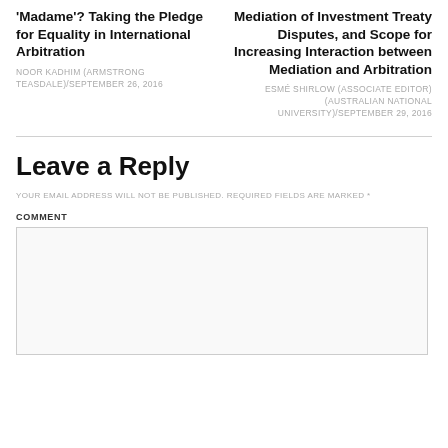'Madame'? Taking the Pledge for Equality in International Arbitration
NOOR KADHIM (ARMSTRONG TEASDALE)/SEPTEMBER 26, 2016
Mediation of Investment Treaty Disputes, and Scope for Increasing Interaction between Mediation and Arbitration
ESMÉ SHIRLOW (ASSOCIATE EDITOR) (AUSTRALIAN NATIONAL UNIVERSITY)/SEPTEMBER 29, 2016
Leave a Reply
YOUR EMAIL ADDRESS WILL NOT BE PUBLISHED. REQUIRED FIELDS ARE MARKED *
COMMENT